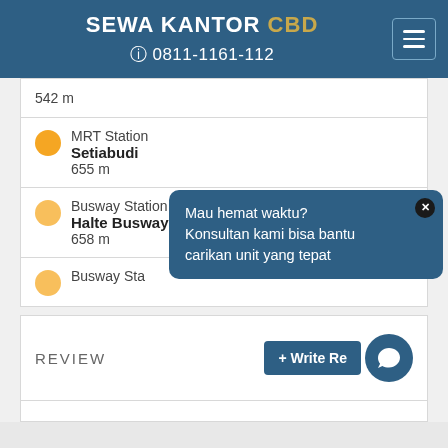SEWA KANTOR CBD | 0811-1161-112
542 m
MRT Station
Setiabudi
655 m
Busway Station
Halte Busway Bendungan Hilir
658 m
Busway Sta...
Mau hemat waktu?
Konsultan kami bisa bantu carikan unit yang tepat
REVIEW
+ Write Re...